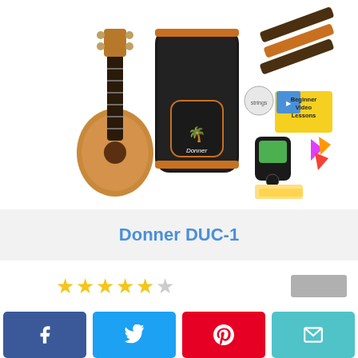[Figure (photo): Donner DUC-1 ukulele product kit including the ukulele, black gig bag with palm tree logo, strap, clip-on tuner, picks, polishing cloth, strings, and beginner video lessons card]
Donner DUC-1
[Figure (other): 4.5 star rating with a gray placeholder box on the right]
[Figure (other): Social share buttons: Facebook, Twitter, Pinterest, Email]